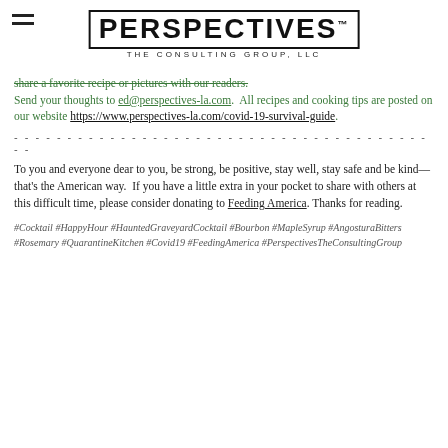PERSPECTIVES. THE CONSULTING GROUP, LLC
share a favorite recipe or pictures with our readers. Send your thoughts to ed@perspectives-la.com.  All recipes and cooking tips are posted on our website https://www.perspectives-la.com/covid-19-survival-guide.
To you and everyone dear to you, be strong, be positive, stay well, stay safe and be kind—that's the American way.  If you have a little extra in your pocket to share with others at this difficult time, please consider donating to Feeding America. Thanks for reading.
#Cocktail #HappyHour #HauntedGraveyardCocktail #Bourbon #MapleSyrup #AngosturaBitters #Rosemary #QuarantineKitchen #Covid19 #FeedingAmerica #PerspectivesTheConsultingGroup